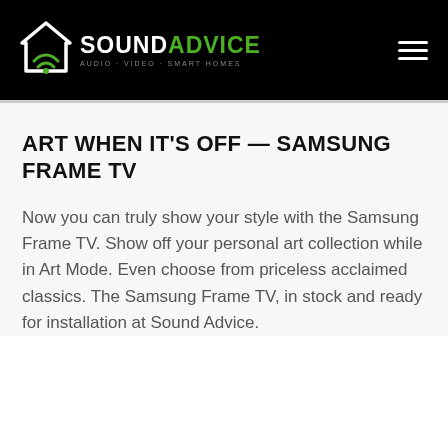[Figure (logo): Sound Advice logo with house/wifi icon on black header background, with hamburger menu icon on the right]
ART WHEN IT'S OFF — SAMSUNG FRAME TV
Now you can truly show your style with the Samsung Frame TV. Show off your personal art collection while in Art Mode. Even choose from priceless acclaimed classics. The Samsung Frame TV, in stock and ready for installation at Sound Advice.